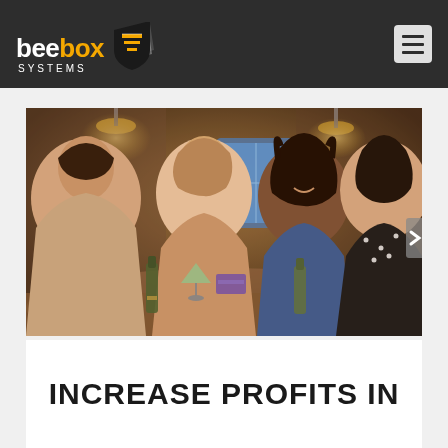[Figure (logo): Beebox Systems logo with bee in white, box in orange text, shield-like striped icon in black/orange/white, on dark background. Hamburger menu icon top right.]
[Figure (photo): Group of young adults socializing at a restaurant bar table, smiling, holding drinks and beers under warm lighting. Indoor restaurant setting with brick walls and pendant lights.]
INCREASE PROFITS IN